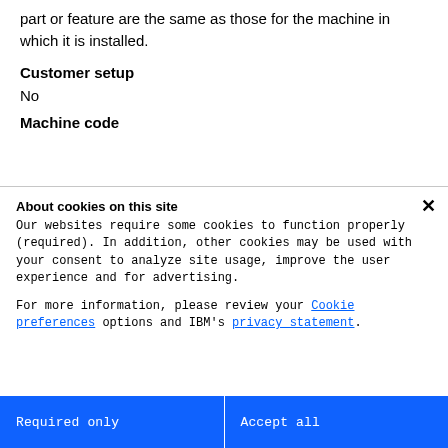period, type of warranty service, and service level of a part or feature are the same as those for the machine in which it is installed.
Customer setup
No
Machine code
About cookies on this site
Our websites require some cookies to function properly (required). In addition, other cookies may be used with your consent to analyze site usage, improve the user experience and for advertising.
For more information, please review your Cookie preferences options and IBM's privacy statement.
Required only
Accept all